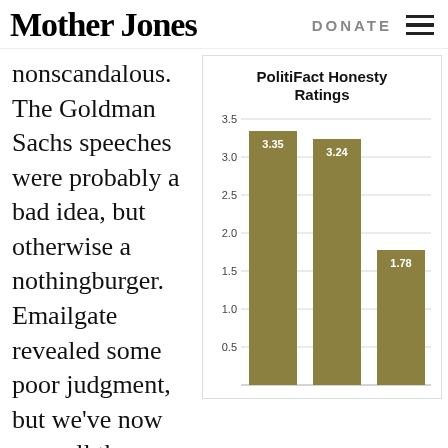Mother Jones | DONATE
nonscandalous. The Goldman Sachs speeches were probably a bad idea, but otherwise a nothingburger. Emailgate revealed some poor judgment, but we've now seen all the emails and it's pretty obviously a
[Figure (bar-chart): PolitiFact Honesty Ratings]